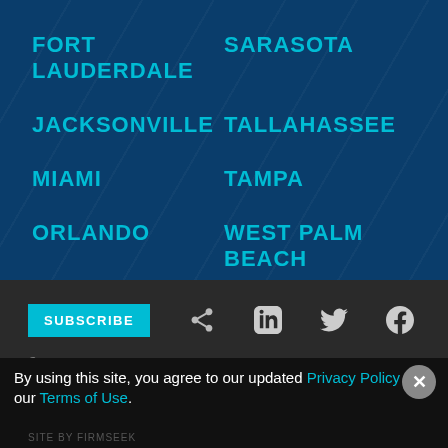FORT LAUDERDALE
SARASOTA
JACKSONVILLE
TALLAHASSEE
MIAMI
TAMPA
ORLANDO
WEST PALM BEACH
SUBSCRIBE
© 2022 SHUTTS & BOWEN LLP
DISCLAIMER
PRIVACY POLICY
By using this site, you agree to our updated Privacy Policy and our Terms of Use.
SITE BY FIRMSEEK